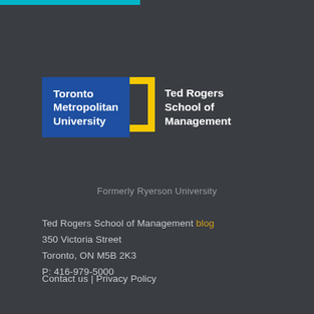[Figure (logo): Toronto Metropolitan University Ted Rogers School of Management logo with blue rectangle, yellow bracket, and white text]
Formerly Ryerson University
Ted Rogers School of Management blog
350 Victoria Street
Toronto, ON M5B 2K3
P: 416-979-5000
Contact us | Privacy Policy